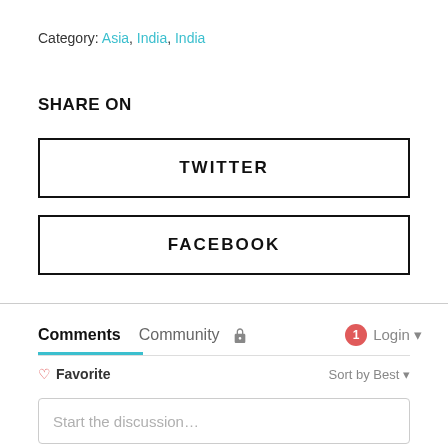Category: Asia, India, India
SHARE ON
TWITTER
FACEBOOK
Comments  Community  Login
Favorite  Sort by Best
Start the discussion…
LOG IN WITH